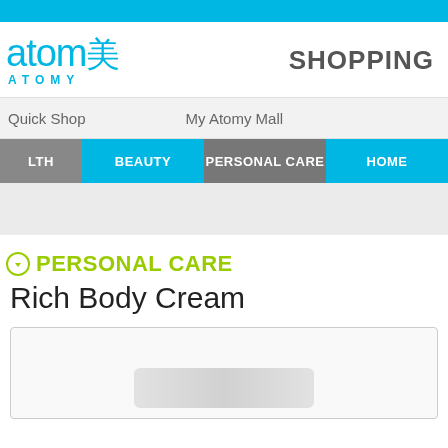Cyan top bar
[Figure (logo): Atomy logo with Chinese character and ATOMY text in cyan, SHOPPING label in gray on right]
Quick Shop   My Atomy Mall
HEALTH  BEAUTY  PERSONAL CARE  HOME
PERSONAL CARE
Rich Body Cream
[Figure (photo): Product image area showing Rich Body Cream packaging placeholder]